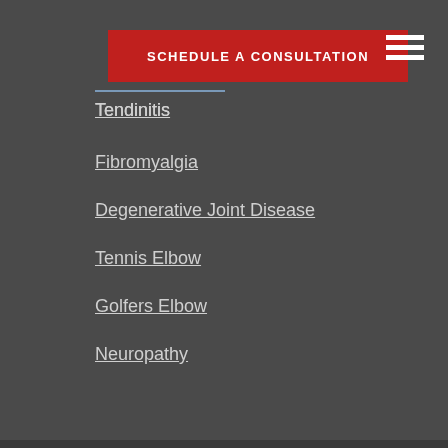[Figure (other): Red button with text SCHEDULE A CONSULTATION]
[Figure (other): Hamburger menu icon with three horizontal white lines]
Tendinitis
Fibromyalgia
Degenerative Joint Disease
Tennis Elbow
Golfers Elbow
Neuropathy
Limb Numbness
Hip Pain
Shoulder Pain
Neck Pain